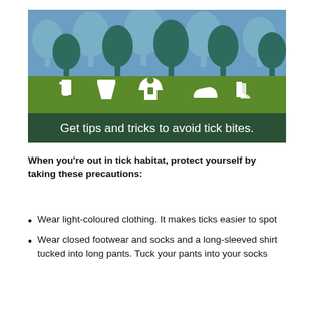[Figure (infographic): Infographic with forest background showing trees on a blue sky, a green mid-section with white icons of a spray bottle, pants, hoodie, shoes, and socks, and a dark green banner at the bottom reading 'Get tips and tricks to avoid tick bites.']
When you're out in tick habitat, protect yourself by taking these precautions:
Wear light-coloured clothing. It makes ticks easier to spot
Wear closed footwear and socks and a long-sleeved shirt tucked into long pants. Tuck your pants into your socks